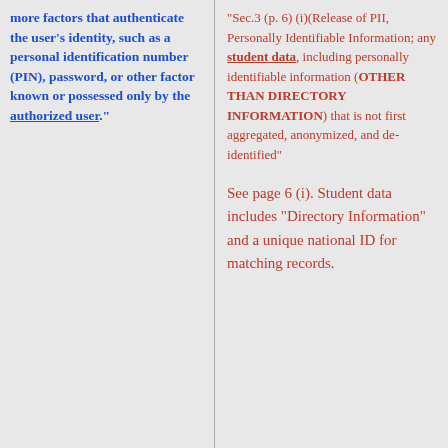more factors that authenticate the user's identity, such as a personal identification number (PIN), password, or other factor known or possessed only by the authorized user."
"Sec.3 (p. 6) (i)(Release of PII, Personally Identifiable Information; any student data, including personally identifiable information (OTHER THAN DIRECTORY INFORMATION) that is not first aggregated, anonymized, and de-identified"
See page 6 (i). Student data includes "Directory Information" and a unique national ID for matching records.